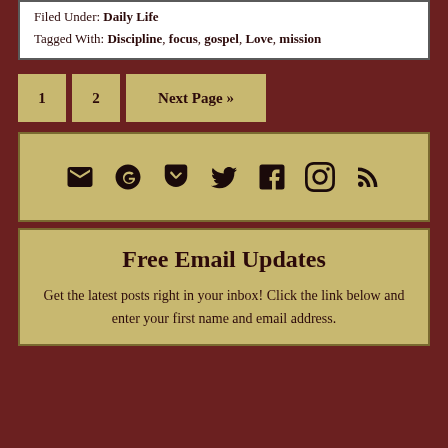Filed Under: Daily Life
Tagged With: Discipline, focus, gospel, Love, mission
1  2  Next Page »
[Figure (infographic): Social media icons: email, Goodreads, Pocket, Twitter, Facebook, Instagram, RSS]
Free Email Updates
Get the latest posts right in your inbox! Click the link below and enter your first name and email address.